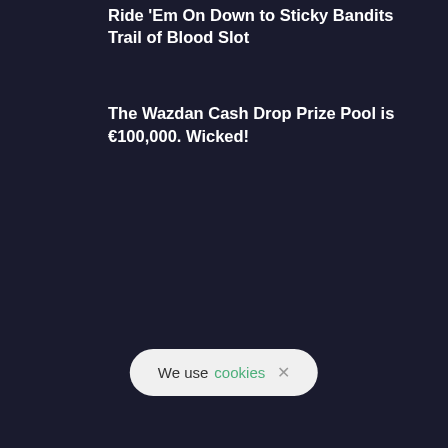Ride 'Em On Down to Sticky Bandits Trail of Blood Slot
The Wazdan Cash Drop Prize Pool is €100,000. Wicked!
We use cookies ×